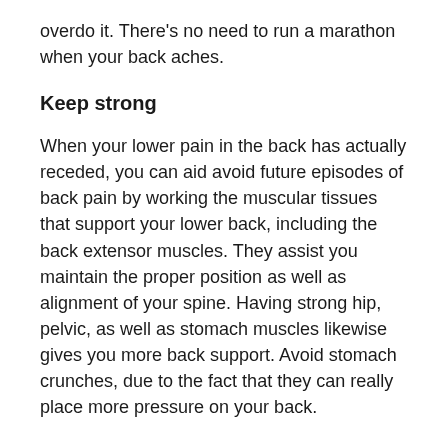overdo it. There's no need to run a marathon when your back aches.
Keep strong
When your lower pain in the back has actually receded, you can aid avoid future episodes of back pain by working the muscular tissues that support your lower back, including the back extensor muscles. They assist you maintain the proper position as well as alignment of your spine. Having strong hip, pelvic, as well as stomach muscles likewise gives you more back support. Avoid stomach crunches, due to the fact that they can really place more pressure on your back.